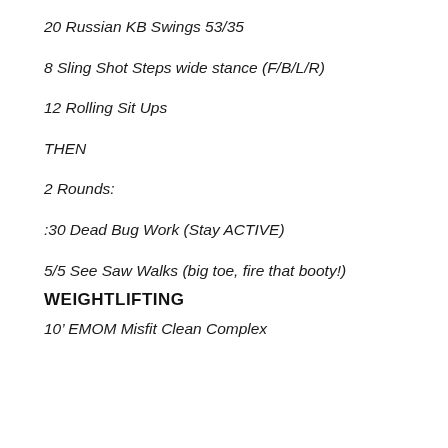20 Russian KB Swings 53/35
8 Sling Shot Steps wide stance (F/B/L/R)
12 Rolling Sit Ups
THEN
2 Rounds:
:30 Dead Bug Work (Stay ACTIVE)
5/5 See Saw Walks (big toe, fire that booty!)
WEIGHTLIFTING
10’ EMOM Misfit Clean Complex